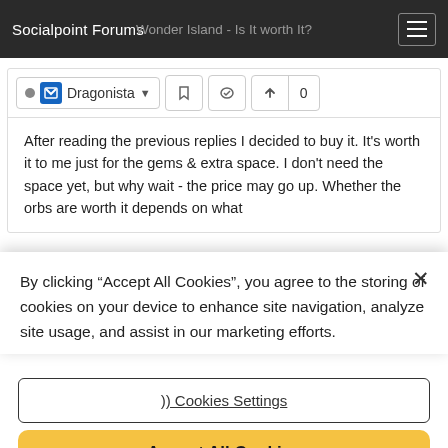Socialpoint Forums
Wonder Island - Is It worth It?
Dragonista
After reading the previous replies I decided to buy it. It's worth it to me just for the gems & extra space. I don't need the space yet, but why wait - the price may go up. Whether the orbs are worth it depends on what
By clicking “Accept All Cookies”, you agree to the storing of cookies on your device to enhance site navigation, analyze site usage, and assist in our marketing efforts.
)) Cookies Settings
Accept All Cookies